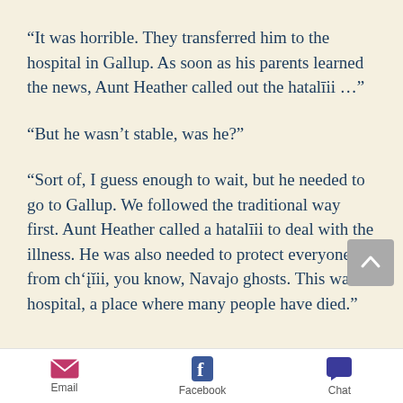“It was horrible. They transferred him to the hospital in Gallup. As soon as his parents learned the news, Aunt Heather called out the hatalīii …”
“But he wasn’t stable, was he?”
“Sort of, I guess enough to wait, but he needed to go to Gallup. We followed the traditional way first. Aunt Heather called a hatalīii to deal with the illness. He was also needed to protect everyone from ch’įĭii, you know, Navajo ghosts. This was a hospital, a place where many people have died.”
Email  Facebook  Chat